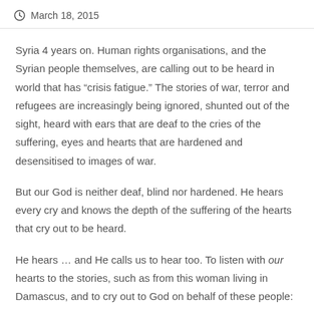March 18, 2015
Syria 4 years on. Human rights organisations, and the Syrian people themselves, are calling out to be heard in world that has “crisis fatigue.” The stories of war, terror and refugees are increasingly being ignored, shunted out of the sight, heard with ears that are deaf to the cries of the suffering, eyes and hearts that are hardened and desensitised to images of war.
But our God is neither deaf, blind nor hardened. He hears every cry and knows the depth of the suffering of the hearts that cry out to be heard.
He hears … and He calls us to hear too. To listen with our hearts to the stories, such as from this woman living in Damascus, and to cry out to God on behalf of these people: